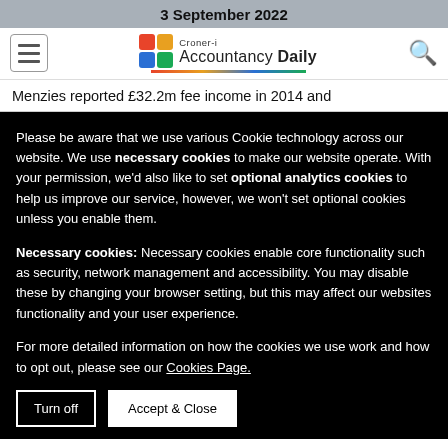3 September 2022
[Figure (logo): Croner-i Accountancy Daily logo with colorful four-square icon and underline gradient]
Menzies reported £32.2m fee income in 2014 and
Please be aware that we use various Cookie technology across our website. We use necessary cookies to make our website operate. With your permission, we'd also like to set optional analytics cookies to help us improve our service, however, we won't set optional cookies unless you enable them.
Necessary cookies: Necessary cookies enable core functionality such as security, network management and accessibility. You may disable these by changing your browser setting, but this may affect our websites functionality and your user experience.
For more detailed information on how the cookies we use work and how to opt out, please see our Cookies Page.
Turn off | Accept & Close